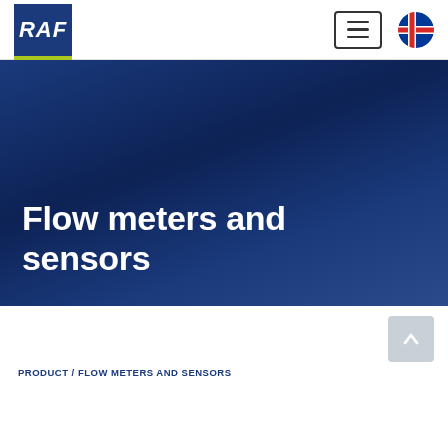[Figure (logo): RAF company logo — white italic bold RAF text on dark blue square background with green/yellow underline stripe]
[Figure (other): Hamburger menu button (three horizontal lines inside a rounded rectangle border)]
[Figure (other): Icelandic flag circle icon]
Flow meters and sensors
[Figure (other): Back to top arrow button (up arrow on grey rounded square)]
PRODUCT / FLOW METERS AND SENSORS